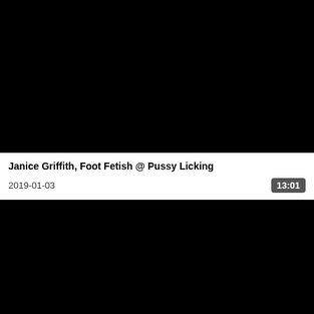[Figure (photo): Black video thumbnail placeholder, first video]
Janice Griffith, Foot Fetish @ Pussy Licking
2019-01-03
13:01
[Figure (photo): Black video thumbnail placeholder, second video]